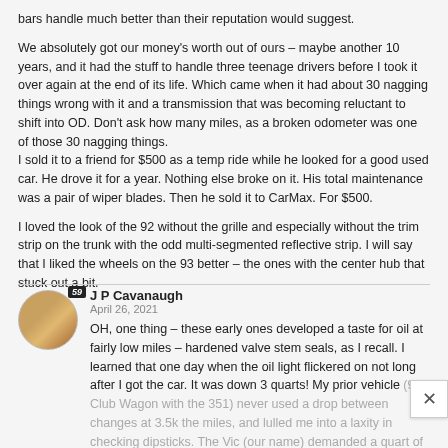bars handle much better than their reputation would suggest.
We absolutely got our money's worth out of ours – maybe another 10 years, and it had the stuff to handle three teenage drivers before I took it over again at the end of its life. Which came when it had about 30 nagging things wrong with it and a transmission that was becoming reluctant to shift into OD. Don't ask how many miles, as a broken odometer was one of those 30 nagging things.
I sold it to a friend for $500 as a temp ride while he looked for a good used car. He drove it for a year. Nothing else broke on it. His total maintenance was a pair of wiper blades. Then he sold it to CarMax. For $500.
I loved the look of the 92 without the grille and especially without the trim strip on the trunk with the odd multi-segmented reflective strip. I will say that I liked the wheels on the 93 better – the ones with the center hub that stuck out a bit.
Reply
J P Cavanaugh
April 26, 2021
OH, one thing – these early ones developed a taste for oil at fairly low miles – hardened valve stem seals, as I recall. I learned that one day when the oil light flickered on not long after I got the car. It was down 3 quarts! My prior vehicle (94 Club Wagon with the 351) never used a drop between changes at 3.5k the miles, and lulled me into a laxity in checking dipsticks. The Vic (our name) demanded a quart of oil every 1000 miles for the entire time we owned it.